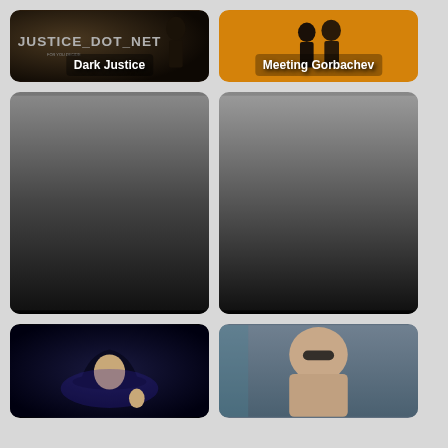[Figure (photo): Dark Justice movie thumbnail with dark moody background and text JUSTICE_DOT_NET]
[Figure (photo): Meeting Gorbachev documentary thumbnail with orange background and two figures]
[Figure (photo): Two Wolves movie thumbnail with dark gradient background]
[Figure (photo): The Grounds movie thumbnail with dark gradient background]
[Figure (photo): Cowboy character with hat on dark background with purple lighting]
[Figure (photo): Shirtless person lying down with sunglasses on grey-teal background]